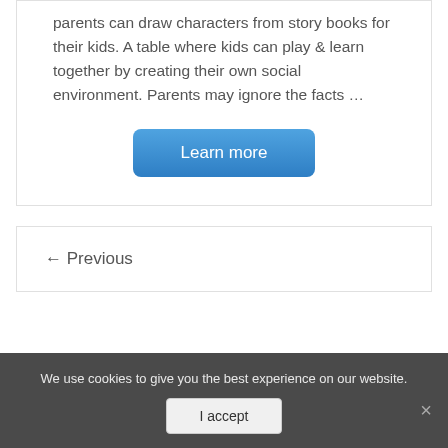parents can draw characters from story books for their kids. A table where kids can play & learn together by creating their own social environment. Parents may ignore the facts …
[Figure (other): A blue rounded 'Learn more' button centered in the card]
← Previous
We use cookies to give you the best experience on our website.
[Figure (other): An 'I accept' button and close X in a dark cookie consent bar]